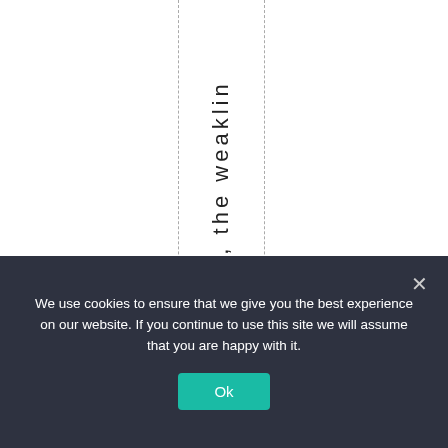matters, the weaklin
We use cookies to ensure that we give you the best experience on our website. If you continue to use this site we will assume that you are happy with it.
Ok